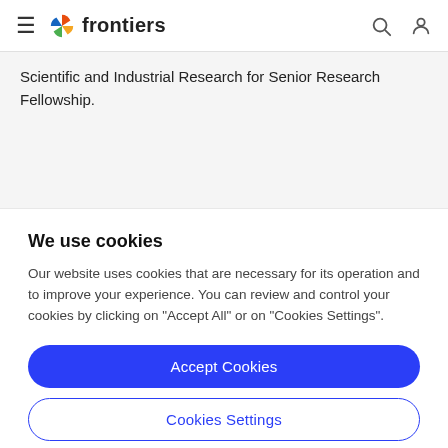frontiers
Scientific and Industrial Research for Senior Research Fellowship.
Ref
We use cookies
Our website uses cookies that are necessary for its operation and to improve your experience. You can review and control your cookies by clicking on "Accept All" or on "Cookies Settings".
Accept Cookies
Cookies Settings